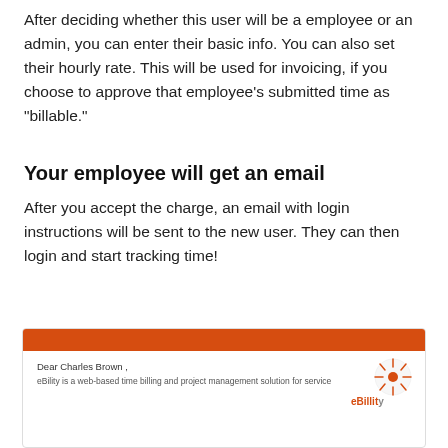After deciding whether this user will be a employee or an admin, you can enter their basic info. You can also set their hourly rate. This will be used for invoicing, if you choose to approve that employee's submitted time as "billable."
Your employee will get an email
After you accept the charge, an email with login instructions will be sent to the new user. They can then login and start tracking time!
[Figure (screenshot): Screenshot of an email from eBility addressed to Dear Charles Brown, with an orange header bar, partial text about eBility being a web-based time billing and project management solution for service, and the eBility logo on the right side.]